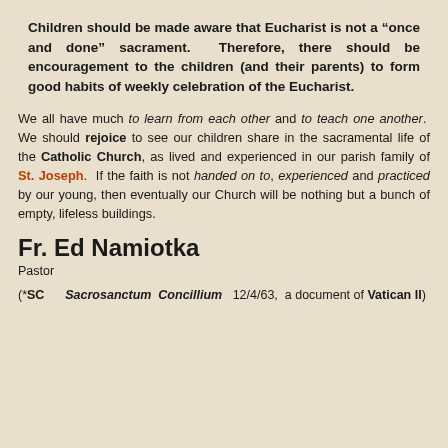Children should be made aware that Eucharist is not a “once and done” sacrament. Therefore, there should be encouragement to the children (and their parents) to form good habits of weekly celebration of the Eucharist.
We all have much to learn from each other and to teach one another. We should rejoice to see our children share in the sacramental life of the Catholic Church, as lived and experienced in our parish family of St. Joseph. If the faith is not handed on to, experienced and practiced by our young, then eventually our Church will be nothing but a bunch of empty, lifeless buildings.
Fr. Ed Namiotka
Pastor
(*SC Sacrosanctum Concillium 12/4/63, a document of Vatican II)